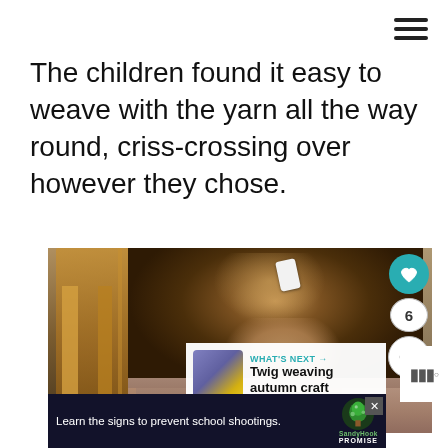The children found it easy to weave with the yarn all the way round, criss-crossing over however they chose.
[Figure (photo): A child with long brown hair and a white hair clip is looking down, seated at a wooden chair, apparently engaged in a craft activity. The image appears on a website with social sharing icons (heart, count of 6, share) on the right and a 'What's Next – Twig weaving autumn craft' overlay in the lower right corner.]
Learn the signs to prevent school shootings.